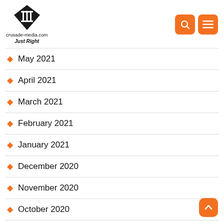[Figure (logo): crusade-media.com Just Right logo with diamond/pillar icon]
May 2021
April 2021
March 2021
February 2021
January 2021
December 2020
November 2020
October 2020